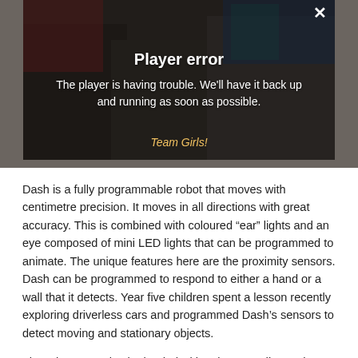[Figure (screenshot): Video player error overlay showing three children in school uniforms in a classroom. A 'Player error' message is displayed with text 'The player is having trouble. We'll have it back up and running as soon as possible.' A 'Team Girls!' label is visible at the bottom of the video.]
Dash is a fully programmable robot that moves with centimetre precision. It moves in all directions with great accuracy. This is combined with coloured "ear" lights and an eye composed of mini LED lights that can be programmed to animate. The unique features here are the proximity sensors. Dash can be programmed to respond to either a hand or a wall that it detects. Year five children spent a lesson recently exploring driverless cars and programmed Dash's sensors to detect moving and stationary objects.
The robots can also be loaded with voice recordings. These